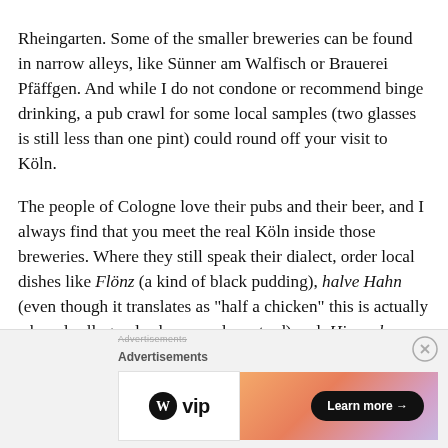Rheingarten. Some of the smaller breweries can be found in narrow alleys, like Sünner am Walfisch or Brauerei Pfäffgen. And while I do not condone or recommend binge drinking, a pub crawl for some local samples (two glasses is still less than one pint) could round off your visit to Köln.
The people of Cologne love their pubs and their beer, and I always find that you meet the real Köln inside those breweries. Where they still speak their dialect, order local dishes like Flönz (a kind of black pudding), halve Hahn (even though it translates as "half a chicken" this is actually a bread roll, gouda cheese and mustard) and  Himmel un Ääd (literally "heaven and earth" meaning apple puree and potatoes), and like to be quite jovial.
[Figure (other): Advertisement banner with WordPress VIP logo and a colorful gradient banner with a 'Learn more' button]